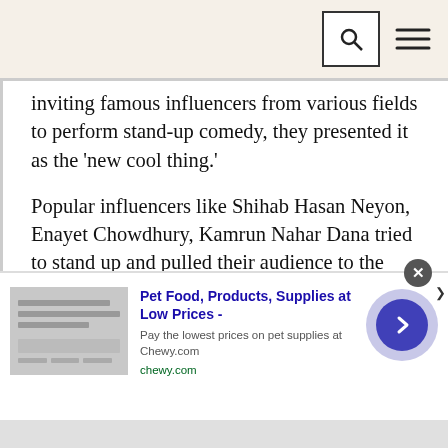[Search icon] [Menu icon]
inviting famous influencers from various fields to perform stand-up comedy, they presented it as the 'new cool thing.'
Popular influencers like Shihab Hasan Neyon, Enayet Chowdhury, Kamrun Nahar Dana tried to stand up and pulled their audience to the scene. This gradually had a ripple effect, creating much organic reach. This also had the effect of encouraging new comedians to grab the mic.
This trend of using social media to popularise stand-up comedy is in fact a global phenomenon.
[Figure (infographic): Advertisement banner for Chewy.com: Pet Food, Products, Supplies at Low Prices. Pay the lowest prices on pet supplies at Chewy.com. chewy.com. Shows a play/arrow button circle on the right.]